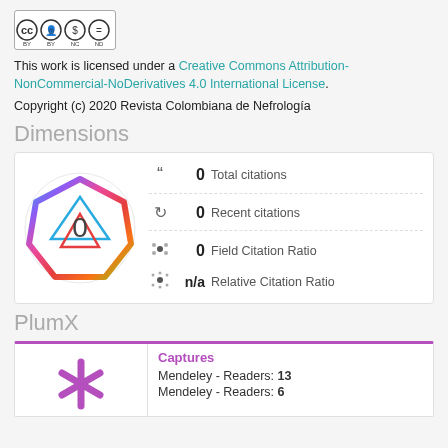[Figure (logo): Creative Commons BY NC ND license badge with cc, person, dollar-sign-circle, and equals icons]
This work is licensed under a Creative Commons Attribution-NonCommercial-NoDerivatives 4.0 International License.
Copyright (c) 2020 Revista Colombiana de Nefrología
Dimensions
[Figure (infographic): Dimensions citation badge showing a colorful heptagon shape with 0 in center, Total citations: 0, Recent citations: 0, Field Citation Ratio: 0, Relative Citation Ratio: n/a]
PlumX
[Figure (infographic): PlumX widget showing Captures section with Mendeley Readers: 13 and Mendeley Readers: 6, with PlumX logo on left]